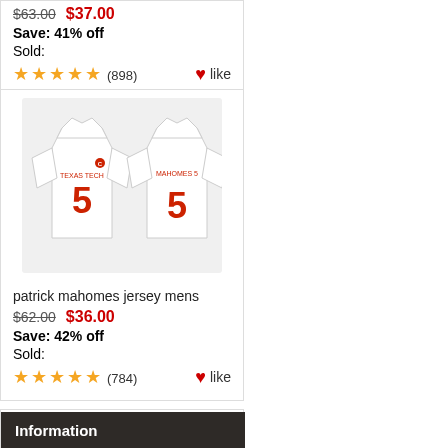$63.00  $37.00
Save: 41% off
Sold:
★★★★★ (898)  ♥like
[Figure (photo): Two white football jerseys with number 5 and MAHOMES name, front and back view]
patrick mahomes jersey mens
$62.00  $36.00
Save: 42% off
Sold:
★★★★★ (784)  ♥like
Information
Shipping & Returns
Privacy Notice